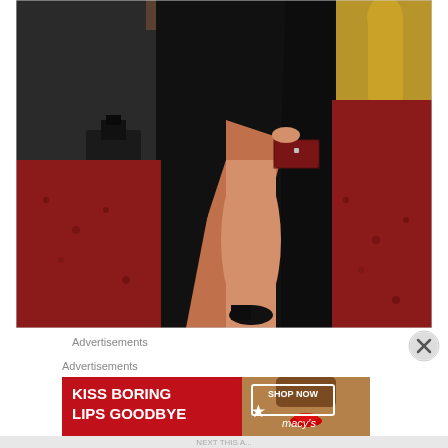[Figure (photo): A person wearing a long black gown with a high leg slit and holding a dark red clutch purse, standing on a red carpet at what appears to be a formal awards event. The background shows gold Oscar-style decor elements and dark walls.]
Advertisements
Advertisements
[Figure (screenshot): Macy's advertisement banner with red background. Text reads 'KISS BORING LIPS GOODBYE' with 'SHOP NOW' button and Macy's star logo. Shows a woman with red lipstick.]
NEXT THIS A...